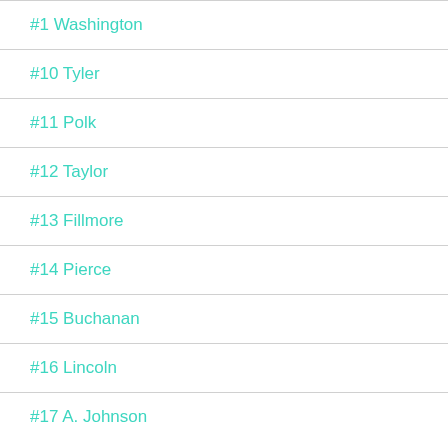#1 Washington
#10 Tyler
#11 Polk
#12 Taylor
#13 Fillmore
#14 Pierce
#15 Buchanan
#16 Lincoln
#17 A. Johnson